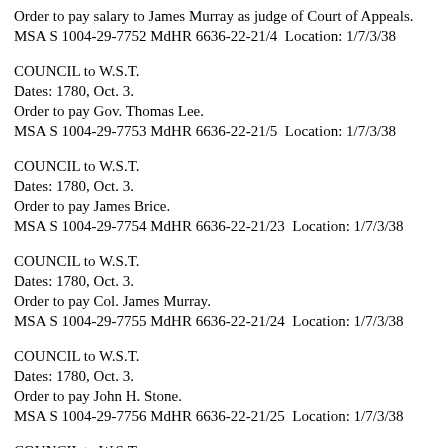Order to pay salary to James Murray as judge of Court of Appeals.
MSA S 1004-29-7752 MdHR 6636-22-21/4  Location: 1/7/3/38
COUNCIL to W.S.T.
Dates: 1780, Oct. 3.
Order to pay Gov. Thomas Lee.
MSA S 1004-29-7753 MdHR 6636-22-21/5  Location: 1/7/3/38
COUNCIL to W.S.T.
Dates: 1780, Oct. 3.
Order to pay James Brice.
MSA S 1004-29-7754 MdHR 6636-22-21/23  Location: 1/7/3/38
COUNCIL to W.S.T.
Dates: 1780, Oct. 3.
Order to pay Col. James Murray.
MSA S 1004-29-7755 MdHR 6636-22-21/24  Location: 1/7/3/38
COUNCIL to W.S.T.
Dates: 1780, Oct. 3.
Order to pay John H. Stone.
MSA S 1004-29-7756 MdHR 6636-22-21/25  Location: 1/7/3/38
COUNCIL to W.S.T.
Dates: 1780, Oct. 4.
Order to pay James Bennett.